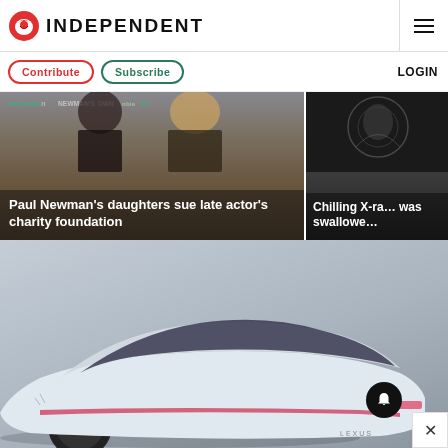INDEPENDENT
Contribute  Subscribe  LOGIN
[Figure (photo): Paul Newman's daughters at charity event with seriousfun and Newman's Own Foundation banners. Two women photographed at an event. Headline overlay reads: Paul Newman's daughters sue late actor's charity foundation]
[Figure (photo): Chilling X-ray image partially visible. Headline overlay reads: Chilling X-ra... was swallowe...]
[Figure (photo): White futuristic concept car (Lexus) photographed from the rear three-quarter angle on a grey background. Notification bell icon and close button visible in lower right.]